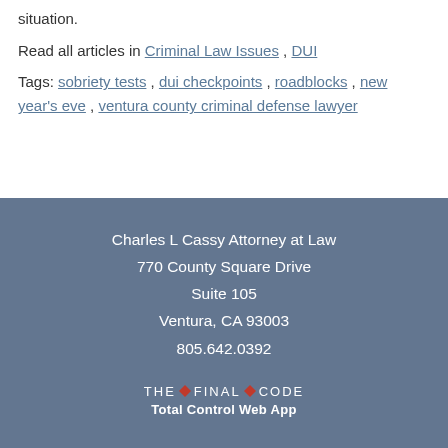situation.
Read all articles in Criminal Law Issues , DUI
Tags: sobriety tests , dui checkpoints , roadblocks , new year's eve , ventura county criminal defense lawyer
Charles L Cassy Attorney at Law
770 County Square Drive
Suite 105
Ventura, CA 93003
805.642.0392
THE FINAL CODE
Total Control Web App